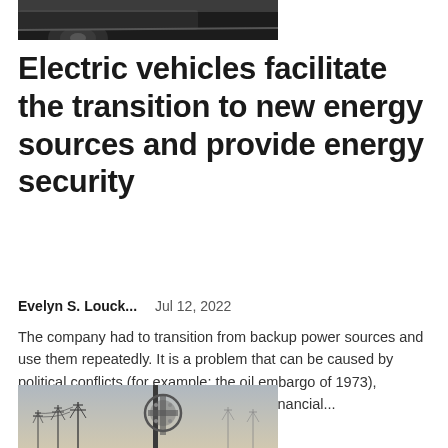[Figure (photo): Top partial image showing a vehicle wheel/tire on dark background]
Electric vehicles facilitate the transition to new energy sources and provide energy security
Evelyn S. Louck...    Jul 12, 2022
The company had to transition from backup power sources and use them repeatedly. It is a problem that can be caused by political conflicts (for example: the oil embargo of 1973), shortages caused by natural disasters, financial...
[Figure (photo): Power transmission towers and electrical infrastructure against a grey sky, with a utility pole and equipment in the foreground]